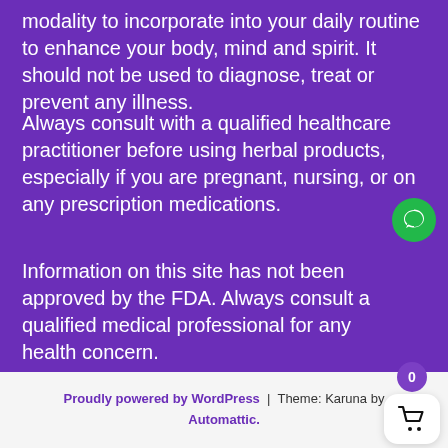modality to incorporate into your daily routine to enhance your body, mind and spirit. It should not be used to diagnose, treat or prevent any illness.
Always consult with a qualified healthcare practitioner before using herbal products, especially if you are pregnant, nursing, or on any prescription medications.
Information on this site has not been approved by the FDA. Always consult a qualified medical professional for any health concern.
Proudly powered by WordPress | Theme: Karuna by Automattic.